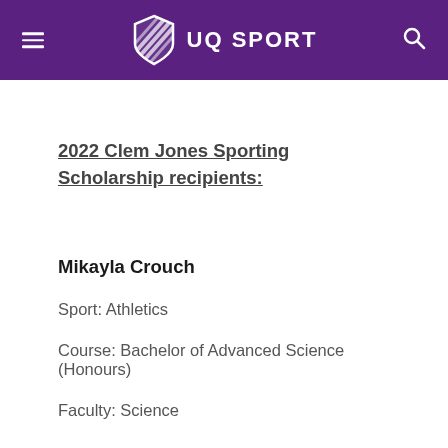UQ SPORT
2022 Clem Jones Sporting Scholarship recipients:
Mikayla Crouch
Sport: Athletics
Course: Bachelor of Advanced Science (Honours)
Faculty: Science